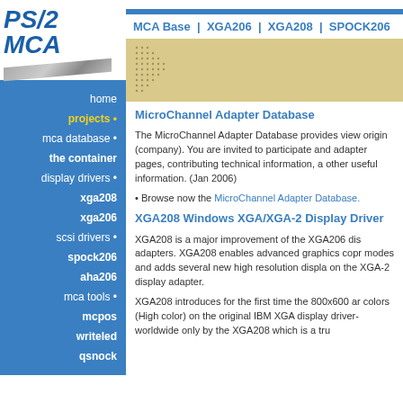PS/2 MCA
MCA Base | XGA206 | XGA208 | SPOCK206
home
projects •
mca database •
the container
display drivers •
xga208
xga206
scsi drivers •
spock206
aha206
mca tools •
mcpos
writeled
qsnock
MicroChannel Adapter Database
The MicroChannel Adapter Database provides view origin (company). You are invited to participate and adapter pages, contributing technical information, a other useful information. (Jan 2006)
• Browse now the MicroChannel Adapter Database.
XGA208 Windows XGA/XGA-2 Display Driver
XGA208 is a major improvement of the XGA206 display adapters. XGA208 enables advanced graphics coprocessor modes and adds several new high resolution display modes on the XGA-2 display adapter.
XGA208 introduces for the first time the 800x600 and colors (High color) on the original IBM XGA display driver-worldwide only by the XGA208 which is a truly